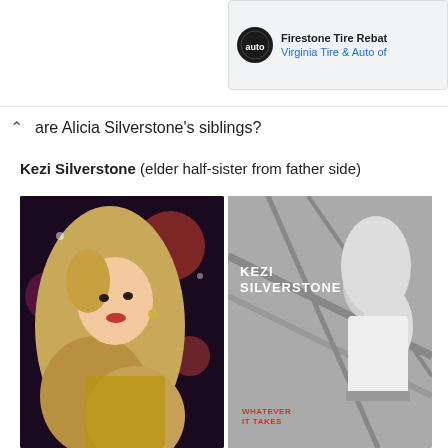[Figure (screenshot): Advertisement banner for Firestone Tire Rebate from Virginia Tire & Auto with logo icon]
Who are Alicia Silverstone's siblings?
Kezi Silverstone (elder half-sister from father side)
[Figure (photo): Two photos of Kezi Silverstone side by side: left is a color photo of a blonde woman at a party, right is a black and white album cover reading KEZI SILVERSTONE and WHATEVER IT TAKES]